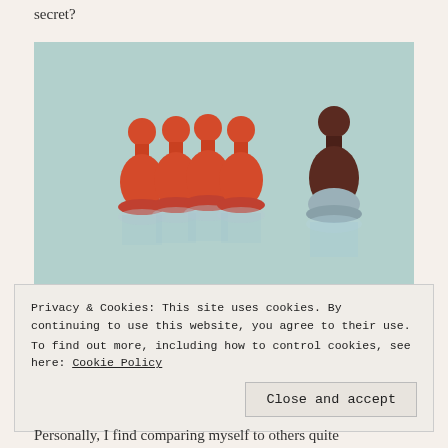secret?
[Figure (photo): A light blue-green background with four red/orange game pawns grouped together on the left, and one dark brown/maroon pawn standing alone on the right, with reflections visible below each pawn.]
Privacy & Cookies: This site uses cookies. By continuing to use this website, you agree to their use.
To find out more, including how to control cookies, see here: Cookie Policy
Close and accept
Personally, I find comparing myself to others quite